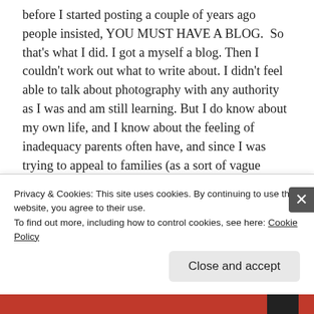before I started posting a couple of years ago people insisted, YOU MUST HAVE A BLOG.  So that's what I did. I got a myself a blog. Then I couldn't work out what to write about. I didn't feel able to talk about photography with any authority as I was and am still learning. But I do know about my own life, and I know about the feeling of inadequacy parents often have, and since I was trying to appeal to families (as a sort of vague marketing goal) I thought I'd write about kiddie related subjects which, of course, I do have experience of, like feeling really crap, or being judged, or wondering if everything I'm …
Privacy & Cookies: This site uses cookies. By continuing to use this website, you agree to their use.
To find out more, including how to control cookies, see here: Cookie Policy
Close and accept